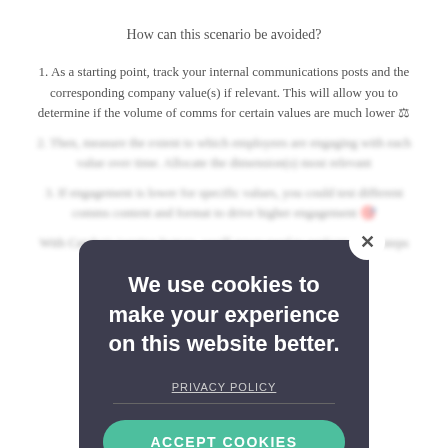How can this scenario be avoided?
1. As a starting point, track your internal communications posts and the corresponding company value(s) if relevant. This will allow you to determine if the volume of comms for certain values are much lower ⚖
2. Then, measure the extent to which employees are engaging with each value over time. Allocate the dimension(s) most relevant
3. If engagement is lower for specific values, you could test different comms content and format to drive higher engagement 🎯
With Candor's tagging feature, you'll never need to perform these steps manually.
[Figure (screenshot): Cookie consent modal overlay with dark background (#3d3d4e), close button (X) in top right, title text 'We use cookies to make your experience on this website better.', a PRIVACY POLICY link, a horizontal divider, and a green ACCEPT COOKIES button.]